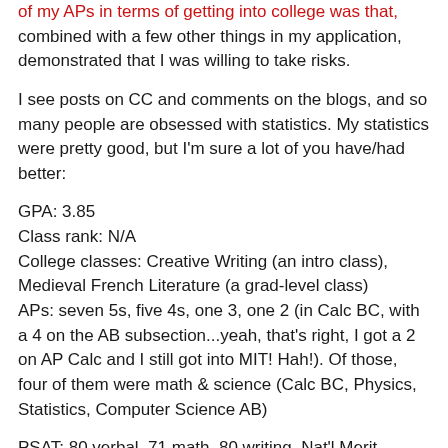of my APs in terms of getting into college was that, combined with a few other things in my application, demonstrated that I was willing to take risks.
I see posts on CC and comments on the blogs, and so many people are obsessed with statistics. My statistics were pretty good, but I'm sure a lot of you have/had better:
GPA: 3.85
Class rank: N/A
College classes: Creative Writing (an intro class), Medieval French Literature (a grad-level class)
APs: seven 5s, five 4s, one 3, one 2 (in Calc BC, with a 4 on the AB subsection...yeah, that's right, I got a 2 on AP Calc and I still got into MIT! Hah!). Of those, four of them were math & science (Calc BC, Physics, Statistics, Computer Science AB)
PSAT: 80 verbal, 71 math, 80 writing, Nat'l Merit Finalist
SAT: 770 verbal, 800 math
SAT II: 760 writing, 700 molecular biology, 800 math IIC